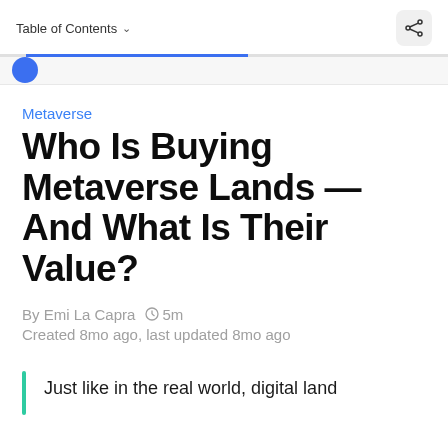Table of Contents
Metaverse
Who Is Buying Metaverse Lands — And What Is Their Value?
By Emi La Capra  🕐 5m
Created 8mo ago, last updated 8mo ago
Just like in the real world, digital land